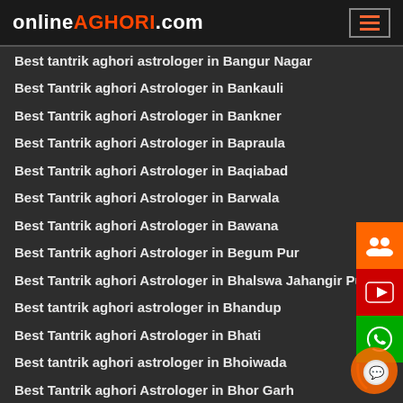onlineAGHORI.com
Best tantrik aghori astrologer in Bangur Nagar
Best Tantrik aghori Astrologer in Bankauli
Best Tantrik aghori Astrologer in Bankner
Best Tantrik aghori Astrologer in Bapraula
Best Tantrik aghori Astrologer in Baqiabad
Best Tantrik aghori Astrologer in Barwala
Best Tantrik aghori Astrologer in Bawana
Best Tantrik aghori Astrologer in Begum Pur
Best Tantrik aghori Astrologer in Bhalswa Jahangir Pur
Best tantrik aghori astrologer in Bhandup
Best Tantrik aghori Astrologer in Bhati
Best tantrik aghori astrologer in Bhoiwada
Best Tantrik aghori Astrologer in Bhor Garh
Best tantrik aghori astrologer in Borivali
Best Tantrik aghori Astrologer in Burari
Best tantrik aghori astrologer in Byculla
Best Tantrik aghori Astrologer in Chandan Hola